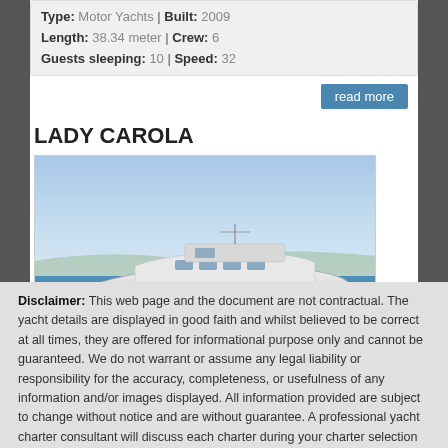Type: Motor Yachts | Built: 2009 | Length: 38.34 meter | Crew: 6 | Guests sleeping: 10 | Speed: 32
read more
LADY CAROLA
[Figure (photo): Motor yacht Lady Carola speeding through blue water, white hull with large wake]
Type: Motor Yachts | Built: 2007 | Length: 26 meter | Crew: 3 | Guests sleeping: 8 | Speed: 0
read more
Disclaimer: This web page and the document are not contractual. The yacht details are displayed in good faith and whilst believed to be correct at all times, they are offered for informational purpose only and cannot be guaranteed. We do not warrant or assume any legal liability or responsibility for the accuracy, completeness, or usefulness of any information and/or images displayed. All information provided are subject to change without notice and are without guarantee. A professional yacht charter consultant will discuss each charter during your charter selection process. Starting prices are shown in a relevant currency for a one-week charter or one day charter, unless stated otherwise, and may or may not include local VAT. Exact pricing and other details will be confirmed on the particular charter contract. To get a detailed